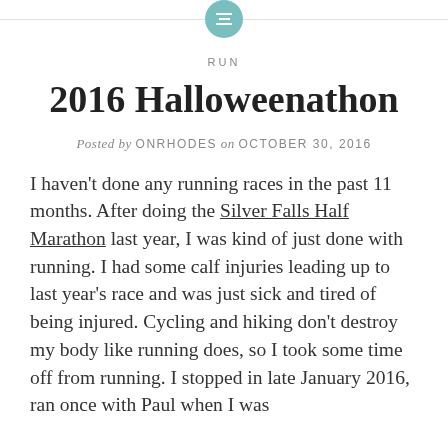[Figure (logo): Teal circular icon with horizontal lines (hamburger/list icon) at top center, with horizontal rules on either side]
RUN
2016 Halloweenathon
Posted by ONRHODES on OCTOBER 30, 2016
I haven't done any running races in the past 11 months.  After doing the Silver Falls Half Marathon last year, I was kind of just done with running.  I had some calf injuries leading up to last year's race and was just sick and tired of being injured.  Cycling and hiking don't destroy my body like running does, so I took some time off from running.  I stopped in late January 2016, ran once with Paul when I was